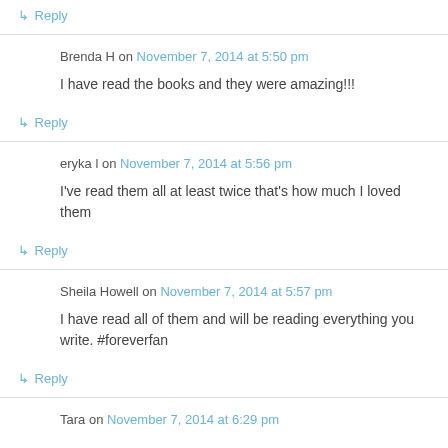↳ Reply
Brenda H on November 7, 2014 at 5:50 pm
I have read the books and they were amazing!!!
↳ Reply
eryka l on November 7, 2014 at 5:56 pm
I've read them all at least twice that's how much I loved them
↳ Reply
Sheila Howell on November 7, 2014 at 5:57 pm
I have read all of them and will be reading everything you write. #foreverfan
↳ Reply
Tara on November 7, 2014 at 6:29 pm